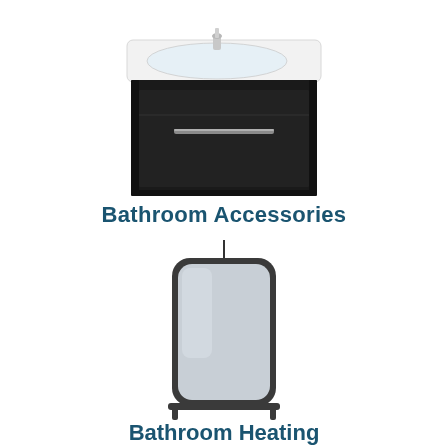[Figure (photo): Wall-mounted bathroom vanity unit with a black cabinet drawer and white ceramic basin with chrome tap.]
Bathroom Accessories
[Figure (photo): A rectangular bathroom mirror with rounded corners, dark frame, hanging from a thin black rod with a shelf/bar at the bottom.]
Bathroom Heating